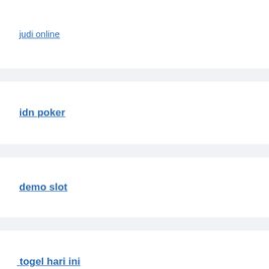judi online
idn poker
demo slot
togel hari ini